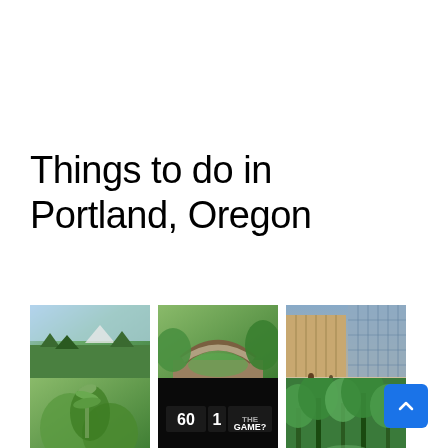Things to do in Portland, Oregon
[Figure (photo): Three thumbnail photos of Portland attractions: Council Crest Park (scenic overlook with trees and mountain view), Crystal Springs Rhododendron Garden (stone arch bridge over garden), Director Park (modern urban plaza with glass building)]
Council Crest Park
Crystal Springs Rhododendron Garden
Director Park
[Figure (photo): Three partial thumbnail photos: Elk Rock (lush green garden), Escape (dark escape room with '60 1 GAME?' text), Forest Park (dense green forest)]
Elk Rock
Escape
Forest Park